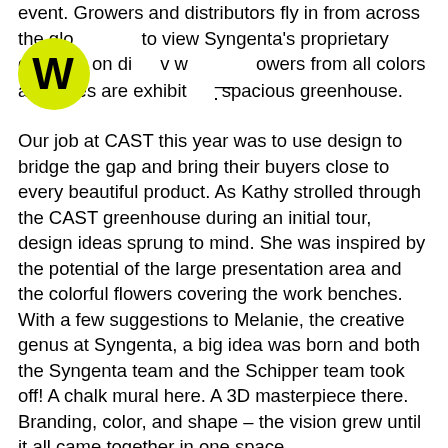event. Growers and distributors fly in from across the globe to view Syngenta's proprietary genetics on display with flowers from all colors and sizes are exhibited in a spacious greenhouse.
[Figure (logo): Round yellow badge with bold black W letter, resembling a logo]
Our job at CAST this year was to use design to bridge the gap and bring their buyers close to every beautiful product. As Kathy strolled through the CAST greenhouse during an initial tour, design ideas sprung to mind. She was inspired by the potential of the large presentation area and the colorful flowers covering the work benches. With a few suggestions to Melanie, the creative genus at Syngenta, a big idea was born and both the Syngenta team and the Schipper team took off! A chalk mural here. A 3D masterpiece there. Branding, color, and shape – the vision grew until it all came together in one space.
Kaysea Johnson, brought Kathy's ideas to life by creating large chalk-like murals depicting each flower's unique branding, and painted an intricate 3D flower arrangement